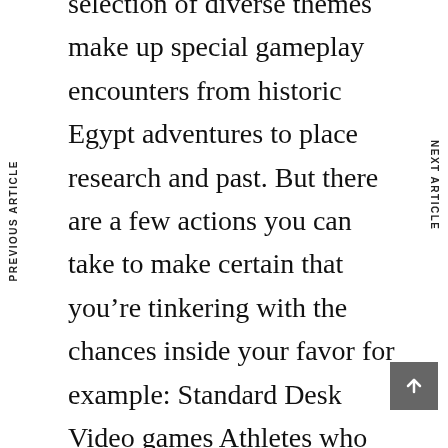selection of diverse themes make up special gameplay encounters from historic Egypt adventures to place research and past. But there are a few actions you can take to make certain that you're tinkering with the chances inside your favor for example: Standard Desk Video games Athletes who are efficient at Blackjackcount cards, however the gambling houses have caught onto this course, and thus most internet casino games now offer you methods of sensing
PREVIOUS ARTICLE
NEXT ARTICLE